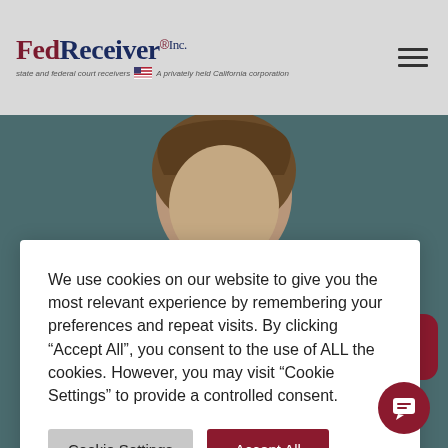[Figure (logo): FedReceiver Inc. logo with red FedReceiver text, state and federal court receivers tagline, and US flag icon]
[Figure (photo): Photo of a person with brown curly hair wearing a striped top, shown against a dark teal background]
We use cookies on our website to give you the most relevant experience by remembering your preferences and repeat visits. By clicking “Accept All”, you consent to the use of ALL the cookies. However, you may visit “Cookie Settings” to provide a controlled consent.
Cookie Settings
Accept All
Have a question? We have answers.